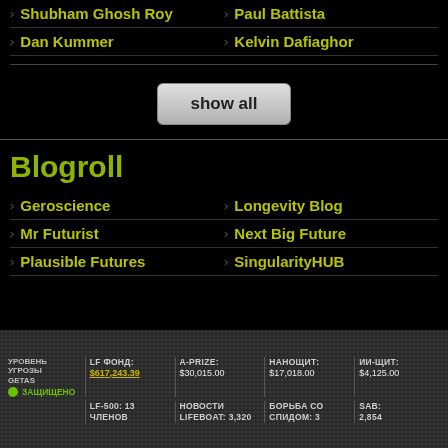Shubham Ghosh Roy
Paul Battista
Dan Kummer
Kelvin Dafiaghor
Blogroll
Geroscience
Longevity Blog
Mr Futurist
Next Big Future
Plausible Futures
SingularityHUB
УРОВЕНЬ УГРОЗЫ GETAS | ЗАЩИЩЕНО | LF ФОНД: $617,243.39 | LF-500: 13 ЧЛЕНОВ | A-PRIZE: $30,015.00 | НОВОСТИ LIFEBOAT: 3,320 | НАНОЩИТ: $17,018.00 | БОРЬБА СО СПИДОМ: 3 | ИИ-ЩИТ: $4,125.00 | SAB: 2,854